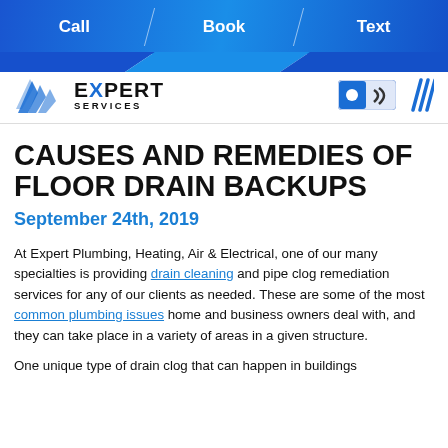Call  Book  Text
[Figure (logo): Expert Services logo with blue mountain/chevron icon, toggle switch icon, and triple slash icon]
CAUSES AND REMEDIES OF FLOOR DRAIN BACKUPS
September 24th, 2019
At Expert Plumbing, Heating, Air & Electrical, one of our many specialties is providing drain cleaning and pipe clog remediation services for any of our clients as needed. These are some of the most common plumbing issues home and business owners deal with, and they can take place in a variety of areas in a given structure.
One unique type of drain clog that can happen in buildings